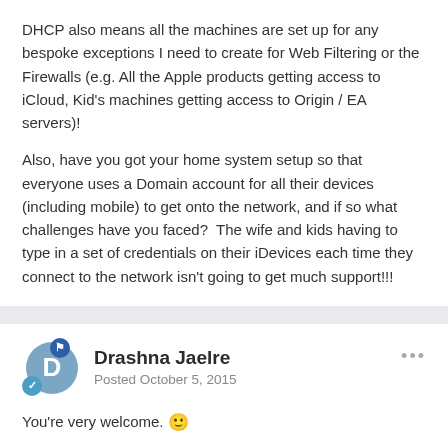DHCP also means all the machines are set up for any bespoke exceptions I need to create for Web Filtering or the Firewalls (e.g. All the Apple products getting access to iCloud, Kid's machines getting access to Origin / EA servers)!
Also, have you got your home system setup so that everyone uses a Domain account for all their devices (including mobile) to get onto the network, and if so what challenges have you faced?  The wife and kids having to type in a set of credentials on their iDevices each time they connect to the network isn't going to get much support!!!
Drashna Jaelre
Posted October 5, 2015
You're very welcome. 🙂
And enjoy the Essentials role. It is very nice to have.